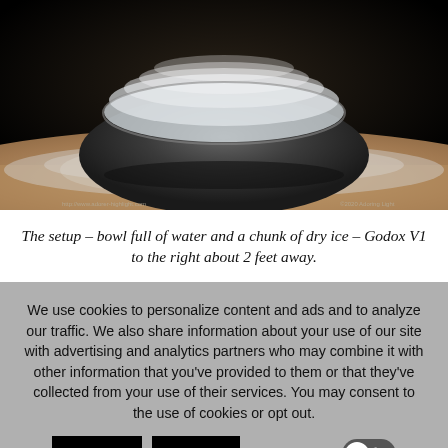[Figure (photo): A dark ceramic bowl filled with water and dry ice, steam/fog spilling over the edges, placed on a wooden surface with a dark background. Small watermark text visible at bottom corners of the image.]
The setup – bowl full of water and a chunk of dry ice – Godox V1 to the right about 2 feet away.
We use cookies to personalize content and ads and to analyze our traffic. We also share information about your use of our site with advertising and analytics partners who may combine it with other information that you've provided to them or that they've collected from your use of their services. You may consent to the use of cookies or opt out.